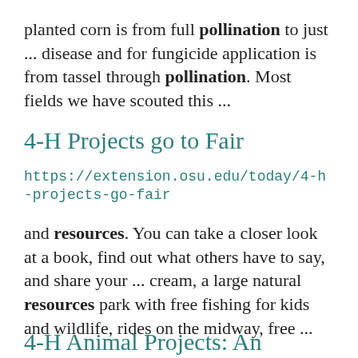planted corn is from full pollination to just ... disease and for fungicide application is from tassel through pollination. Most fields we have scouted this ...
4-H Projects go to Fair
https://extension.osu.edu/today/4-h-projects-go-fair
and resources. You can take a closer look at a book, find out what others have to say, and share your ... cream, a large natural resources park with free fishing for kids and wildlife, rides on the midway, free ...
4-H Animal Projects: An Option